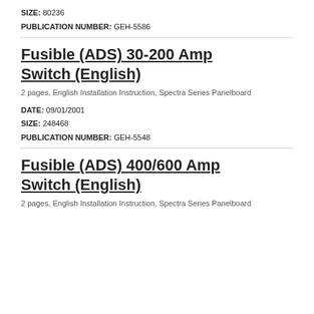SIZE: 80236
PUBLICATION NUMBER: GEH-5586
Fusible (ADS) 30-200 Amp Switch (English)
2 pages, English Installation Instruction, Spectra Series Panelboard
DATE: 09/01/2001
SIZE: 248468
PUBLICATION NUMBER: GEH-5548
Fusible (ADS) 400/600 Amp Switch (English)
2 pages, English Installation Instruction, Spectra Series Panelboard